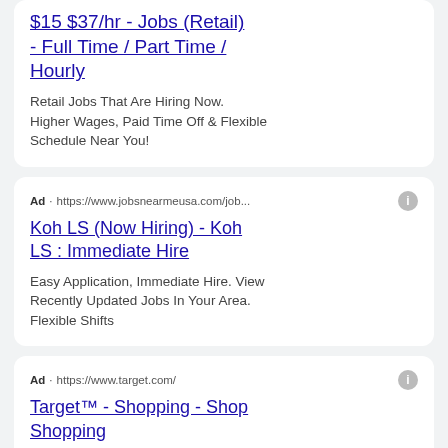$15 $37/hr - Jobs (Retail) - Full Time / Part Time / Hourly
Retail Jobs That Are Hiring Now. Higher Wages, Paid Time Off & Flexible Schedule Near You!
Ad · https://www.jobsnearmeusa.com/job...
Koh LS (Now Hiring) - Koh LS : Immediate Hire
Easy Application, Immediate Hire. View Recently Updated Jobs In Your Area. Flexible Shifts
Ad · https://www.target.com/
Target™ - Shopping - Shop Shopping
Find Shopping & More Daily Deals.